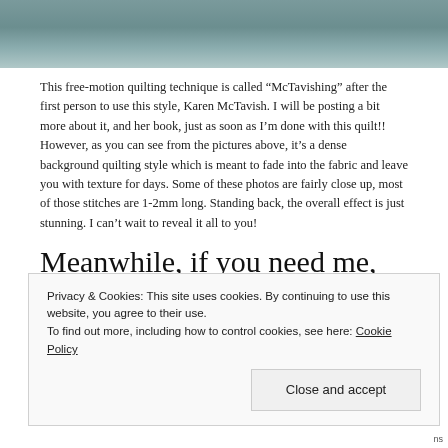[Figure (photo): Top portion of a photo showing a teal/grey quilted fabric texture, cropped at top of page]
This free-motion quilting technique is called “McTavishing” after the first person to use this style, Karen McTavish. I will be posting a bit more about it, and her book, just as soon as I’m done with this quilt!! However, as you can see from the pictures above, it’s a dense background quilting style which is meant to fade into the fabric and leave you with texture for days. Some of these photos are fairly close up, most of those stitches are 1-2mm long. Standing back, the overall effect is just stunning. I can’t wait to reveal it all to you!
Meanwhile, if you need me, you know where I’ll be. Circling in, echoing out,
Privacy & Cookies: This site uses cookies. By continuing to use this website, you agree to their use.
To find out more, including how to control cookies, see here: Cookie Policy
Close and accept